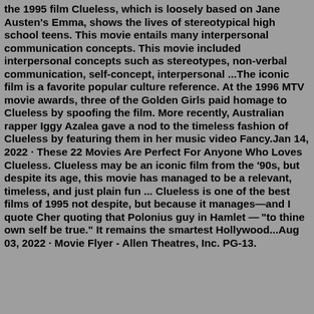the 1995 film Clueless, which is loosely based on Jane Austen's Emma, shows the lives of stereotypical high school teens. This movie entails many interpersonal communication concepts. This movie included interpersonal concepts such as stereotypes, non-verbal communication, self-concept, interpersonal ...The iconic film is a favorite popular culture reference. At the 1996 MTV movie awards, three of the Golden Girls paid homage to Clueless by spoofing the film. More recently, Australian rapper Iggy Azalea gave a nod to the timeless fashion of Clueless by featuring them in her music video Fancy.Jan 14, 2022 · These 22 Movies Are Perfect For Anyone Who Loves Clueless. Clueless may be an iconic film from the '90s, but despite its age, this movie has managed to be a relevant, timeless, and just plain fun ... Clueless is one of the best films of 1995 not despite, but because it manages—and I quote Cher quoting that Polonius guy in Hamlet — "to thine own self be true." It remains the smartest Hollywood...Aug 03, 2022 · Movie Flyer - Allen Theatres, Inc. PG-13.